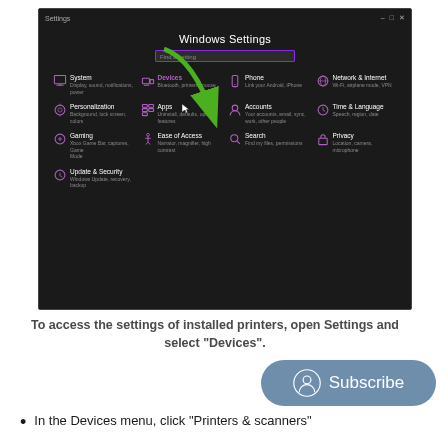[Figure (screenshot): Windows Settings screen (dark mode) showing the main settings categories: System, Devices, Phone, Network & Internet, Personalization, Apps, Accounts, Time & Language, Gaming, Ease of Access, Search, Privacy, Update & Security. A green arrow points to the 'Devices' option. There is a search bar at the top reading 'Find a setting'.]
To access the settings of installed printers, open Settings and select "Devices".
[Figure (illustration): Subscribe button with circular user icon on a muted blue-grey pill-shaped background.]
In the Devices menu, click "Printers & scanners"